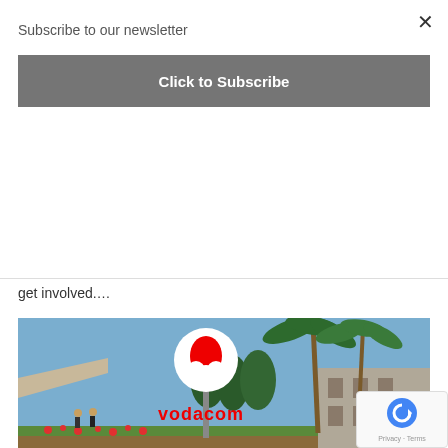Subscribe to our newsletter
Click to Subscribe
get involved....
[Figure (photo): Vodacom branded sign with the red Vodacom logo on a pole surrounded by palm trees and a building in the background. A red badge reads INDUSTRY NEWS.]
Vodacom launches Get-A-Gig to help young